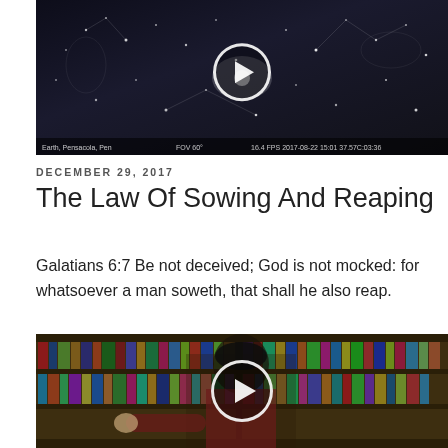[Figure (screenshot): Video thumbnail showing a star map / constellation chart with a play button overlay. Dark background with illustrated star constellations.]
DECEMBER 29, 2017
The Law Of Sowing And Reaping
Galatians 6:7 Be not deceived; God is not mocked: for whatsoever a man soweth, that shall he also reap.
[Figure (screenshot): Video thumbnail showing a man in a red flannel shirt and black beanie standing in front of bookshelves, pointing to his left. A play button overlay is centered on the image.]